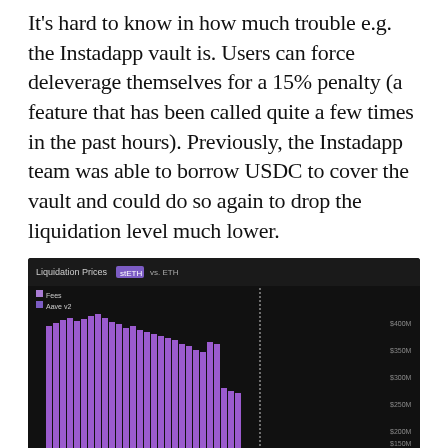It's hard to know in how much trouble e.g. the Instadapp vault is. Users can force deleverage themselves for a 15% penalty (a feature that has been called quite a few times in the past hours). Previously, the Instadapp team was able to borrow USDC to cover the vault and could do so again to drop the liquidation level much lower.
[Figure (bar-chart): Bar chart showing stETH liquidation prices across different ETH price levels (0.6ETH to 1.3ETH range), with large purple bars on the left side dropping off sharply around 0.9ETH, then much smaller bars. Y-axis shows values from $50M to $400M.]
stETH liquidation prices.
For long-term ETH holders, the current situation